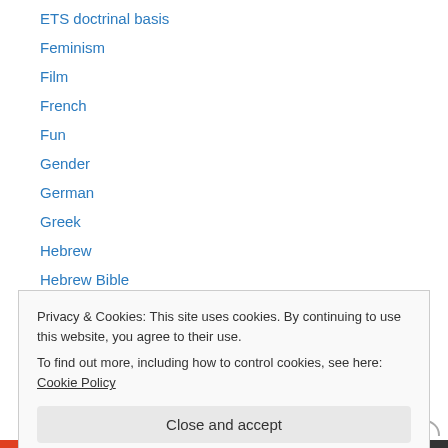ETS doctrinal basis
Feminism
Film
French
Fun
Gender
German
Greek
Hebrew
Hebrew Bible
Hinduism
History
Humanities
Privacy & Cookies: This site uses cookies. By continuing to use this website, you agree to their use. To find out more, including how to control cookies, see here: Cookie Policy
Close and accept